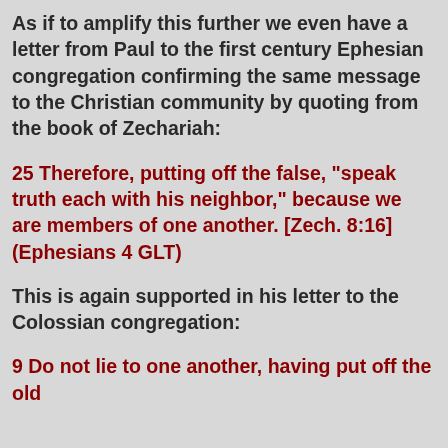As if to amplify this further we even have a letter from Paul to the first century Ephesian congregation confirming the same message to the Christian community by quoting from the book of Zechariah:
25 Therefore, putting off the false, "speak truth each with his neighbor," because we are members of one another. [Zech. 8:16] (Ephesians 4 GLT)
This is again supported in his letter to the Colossian congregation:
9 Do not lie to one another, having put off the old man with his practices, [Colossians 3 GLT]